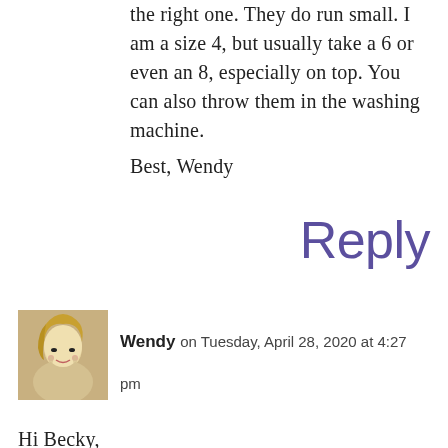the right one. They do run small. I am a size 4, but usually take a 6 or even an 8, especially on top. You can also throw them in the washing machine.
Best, Wendy
Reply
[Figure (photo): Small circular/square avatar photo of a woman with blonde hair wearing earrings]
Wendy on Tuesday, April 28, 2020 at 4:27 pm
Hi Becky,
You're email kinda got lost amongst the